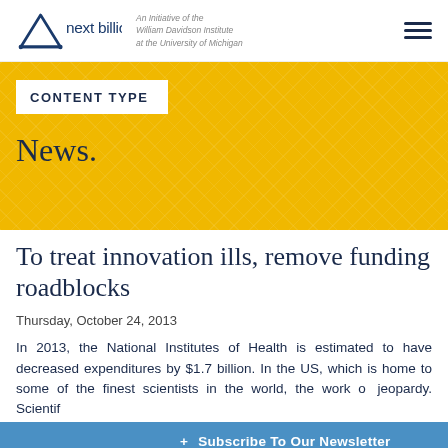next billion — An Initiative of the William Davidson Institute at the University of Michigan
CONTENT TYPE
News.
To treat innovation ills, remove funding roadblocks
Thursday, October 24, 2013
In 2013, the National Institutes of Health is estimated to have decreased expenditures by $1.7 billion. In the US, which is home to some of the finest scientists in the world, the work of... jeopardy. Scientif...
+ Subscribe To Our Newsletter